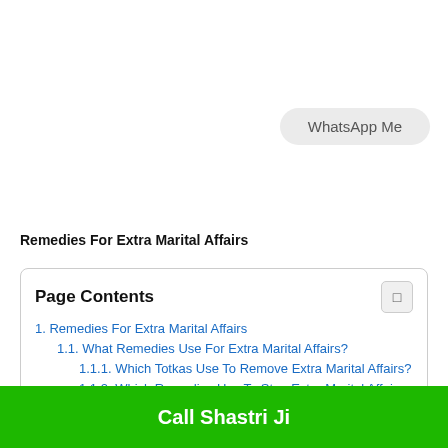[Figure (other): WhatsApp Me button - rounded pill-shaped button with light gray background]
Remedies For Extra Marital Affairs
Page Contents
1. Remedies For Extra Marital Affairs
1.1. What Remedies Use For Extra Marital Affairs?
1.1.1. Which Totkas Use To Remove Extra Marital Affairs?
1.1.2. Which Remedies Use To Stop Extra Marital Affairs of Wife?
Call Shastri Ji